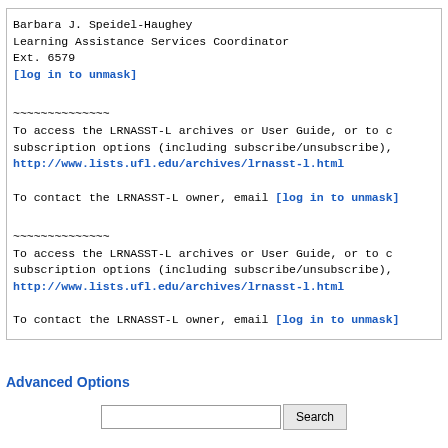Barbara J. Speidel-Haughey
Learning Assistance Services Coordinator
Ext. 6579
[log in to unmask]
~~~~~~~~~~~~~~
To access the LRNASST-L archives or User Guide, or to c
subscription options (including subscribe/unsubscribe),
http://www.lists.ufl.edu/archives/lrnasst-l.html

To contact the LRNASST-L owner, email [log in to unmask]
~~~~~~~~~~~~~~
To access the LRNASST-L archives or User Guide, or to c
subscription options (including subscribe/unsubscribe),
http://www.lists.ufl.edu/archives/lrnasst-l.html

To contact the LRNASST-L owner, email [log in to unmask]
Advanced Options
Search